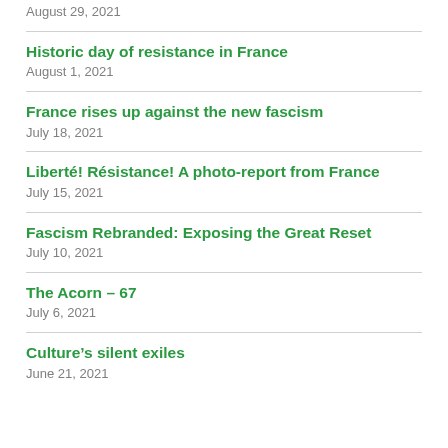August 29, 2021
Historic day of resistance in France
August 1, 2021
France rises up against the new fascism
July 18, 2021
Liberté! Résistance! A photo-report from France
July 15, 2021
Fascism Rebranded: Exposing the Great Reset
July 10, 2021
The Acorn – 67
July 6, 2021
Culture's silent exiles
June 21, 2021